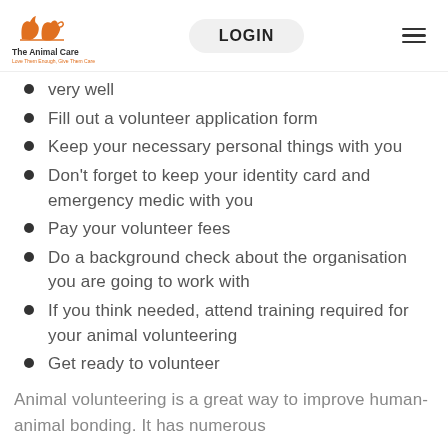The Animal Care — LOGIN
very well
Fill out a volunteer application form
Keep your necessary personal things with you
Don't forget to keep your identity card and emergency medic with you
Pay your volunteer fees
Do a background check about the organisation you are going to work with
If you think needed, attend training required for your animal volunteering
Get ready to volunteer
Animal volunteering is a great way to improve human-animal bonding. It has numerous